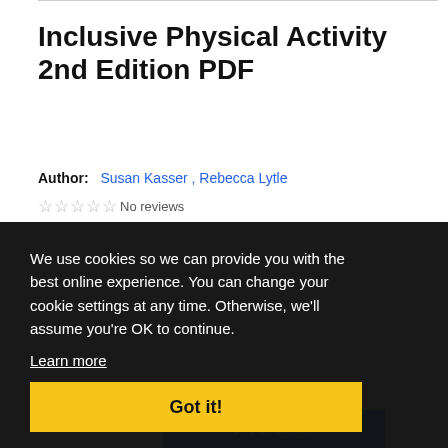Inclusive Physical Activity 2nd Edition PDF
Author: Susan Kasser , Rebecca Lytle
☆ ☆ ☆ ☆ ☆ No reviews
We use cookies so we can provide you with the best online experience. You can change your cookie settings at any time. Otherwise, we'll assume you're OK to continue.
Learn more
Got it!